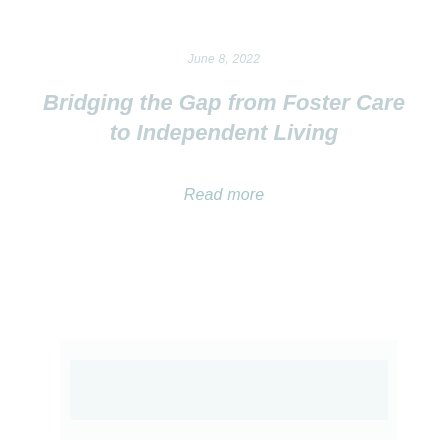June 8, 2022
Bridging the Gap from Foster Care to Independent Living
Read more
[Figure (photo): Faint background image, very light/washed out, barely visible at bottom portion of page]